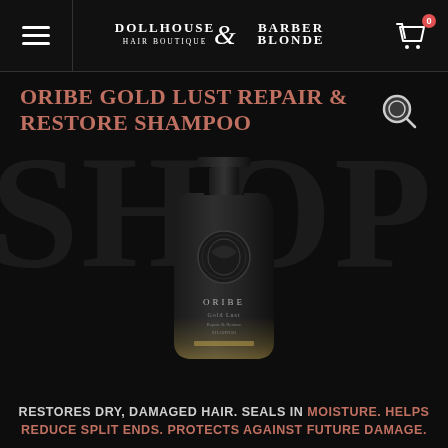Dollhouse Hair Boutique & Barber Blonde
ORIBE GOLD LUST REPAIR & RESTORE SHAMPOO
[Figure (photo): Dark bottle of Oribe Gold Lust Repair & Restore Shampoo against a black background with large watermark text 'SHOP']
RESTORES DRY, DAMAGED HAIR. SEALS IN MOISTURE. HELPS REDUCE SPLIT ENDS. PROTECTS AGAINST FUTURE DAMAGE.